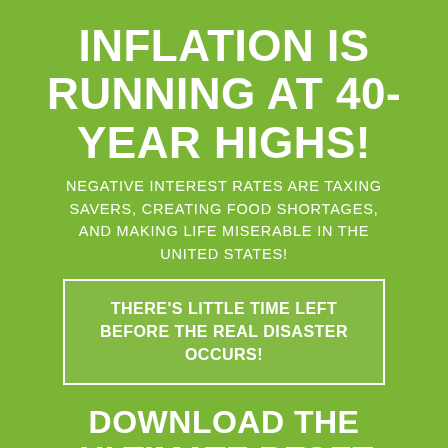INFLATION IS RUNNING AT 40-YEAR HIGHS!
NEGATIVE INTEREST RATES ARE TAXING SAVERS, CREATING FOOD SHORTAGES, AND MAKING LIFE MISERABLE IN THE UNITED STATES!
THERE'S LITTLE TIME LEFT BEFORE THE REAL DISASTER OCCURS!
DOWNLOAD THE ULTIMATE RESET GUIDE NOW!